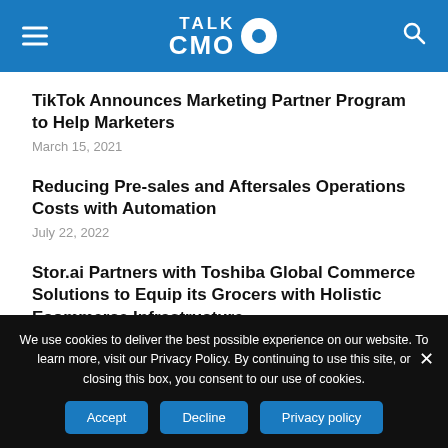TALK CMO
TikTok Announces Marketing Partner Program to Help Marketers
March 15, 2021
Reducing Pre-sales and Aftersales Operations Costs with Automation
July 22, 2022
Stor.ai Partners with Toshiba Global Commerce Solutions to Equip its Grocers with Holistic Ecommerce Infrastructure
We use cookies to deliver the best possible experience on our website. To learn more, visit our Privacy Policy. By continuing to use this site, or closing this box, you consent to our use of cookies.
Accept  Decline  Privacy policy